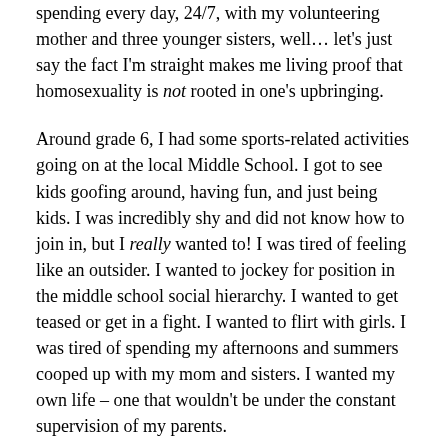spending every day, 24/7, with my volunteering mother and three younger sisters, well… let's just say the fact I'm straight makes me living proof that homosexuality is not rooted in one's upbringing.
Around grade 6, I had some sports-related activities going on at the local Middle School. I got to see kids goofing around, having fun, and just being kids. I was incredibly shy and did not know how to join in, but I really wanted to! I was tired of feeling like an outsider. I wanted to jockey for position in the middle school social hierarchy. I wanted to get teased or get in a fight. I wanted to flirt with girls. I was tired of spending my afternoons and summers cooped up with my mom and sisters. I wanted my own life – one that wouldn't be under the constant supervision of my parents.